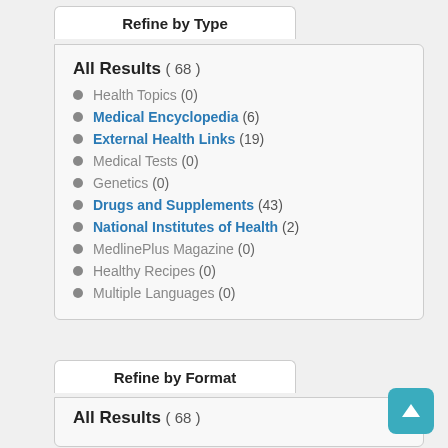Refine by Type
All Results ( 68 )
Health Topics (0)
Medical Encyclopedia (6)
External Health Links (19)
Medical Tests (0)
Genetics (0)
Drugs and Supplements (43)
National Institutes of Health (2)
MedlinePlus Magazine (0)
Healthy Recipes (0)
Multiple Languages (0)
Refine by Format
All Results ( 68 )